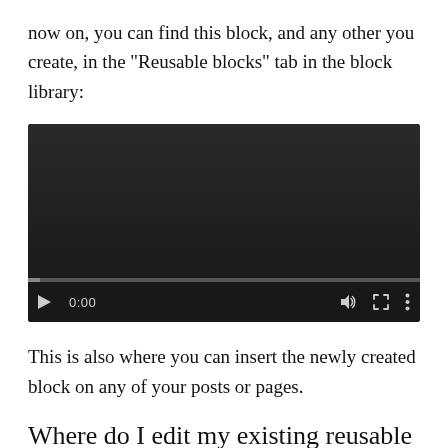now on, you can find this block, and any other you create, in the “Reusable blocks” tab in the block library:
[Figure (screenshot): Video player screenshot showing a dark/black video player with playback controls: play button, 0:00 timestamp, volume icon, fullscreen icon, and options menu (three dots). A progress bar is visible at the bottom of the player.]
This is also where you can insert the newly created block on any of your posts or pages.
Where do I edit my existing reusable